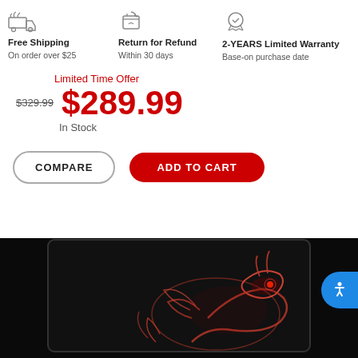[Figure (infographic): Three feature icons: truck/free shipping, box/return for refund, medal/2-year limited warranty]
Free Shipping
On order over $25
Return for Refund
Within 30 days
2-YEARS Limited Warranty
Base-on purchase date
Limited Time Offer
$329.99  $289.99
In Stock
COMPARE
ADD TO CART
[Figure (photo): Gaming monitor with a red glowing dragon logo on a black screen background]